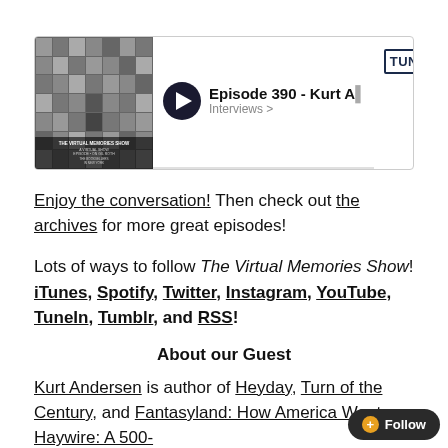[Figure (screenshot): TuneIn podcast player widget showing Episode 390 - Kurt A... with play button, episode thumbnail collage, and TuneIn logo]
Enjoy the conversation! Then check out the archives for more great episodes!
Lots of ways to follow The Virtual Memories Show! iTunes, Spotify, Twitter, Instagram, YouTube, TuneIn, Tumblr, and RSS!
About our Guest
Kurt Andersen is author of Heyday, Turn of the Century, and Fantasyland: How America Went Haywire: A 500-Year History, and frequently writes for New York a